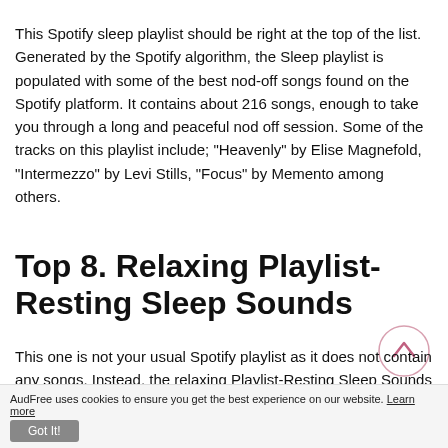This Spotify sleep playlist should be right at the top of the list. Generated by the Spotify algorithm, the Sleep playlist is populated with some of the best nod-off songs found on the Spotify platform. It contains about 216 songs, enough to take you through a long and peaceful nod off session. Some of the tracks on this playlist include; "Heavenly" by Elise Magnefold, "Intermezzo" by Levi Stills, "Focus" by Memento among others.
Top 8. Relaxing Playlist-Resting Sleep Sounds
This one is not your usual Spotify playlist as it does not contain any songs. Instead, the relaxing Playlist-Resting Sleep Sounds includes a collection of sleep-inducing and
AudFree uses cookies to ensure you get the best experience on our website. Learn more Got It!